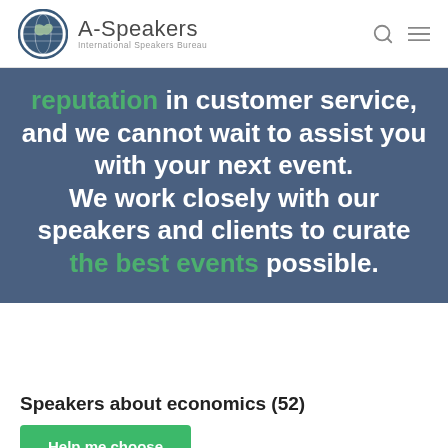A-Speakers International Speakers Bureau
reputation in customer service, and we cannot wait to assist you with your next event. We work closely with our speakers and clients to curate the best events possible.
Speakers about economics (52)
Help me choose